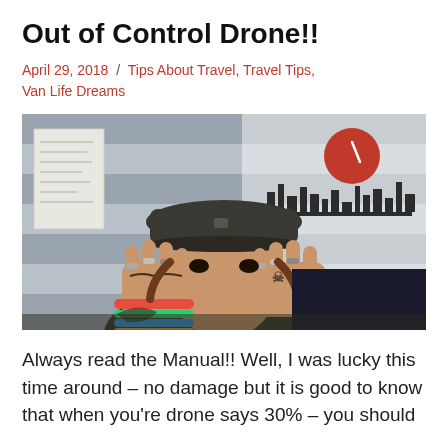Out of Control Drone!!
April 29, 2018  /  Tips About Travel, Travel Tips, Van Life Dreams
[Figure (photo): Person wearing a dark cap covering their face with both hands raised, showing tattoos on fingers and wrists, colorful bracelets, indoors with striped wall and red circle clock in background]
Always read the Manual!! Well, I was lucky this time around – no damage but it is good to know that when you're drone says 30% – you should think about landing it!! Or, better this happened at home...